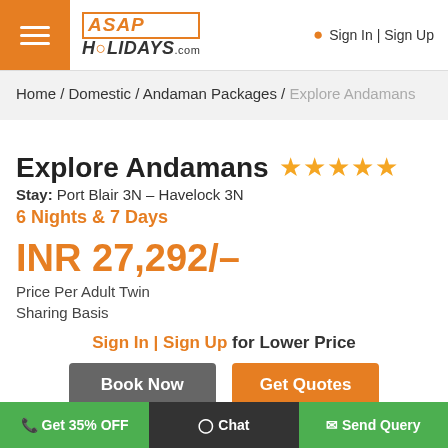ASAP HOLIDAYS.com | Sign In | Sign Up
Home / Domestic / Andaman Packages / Explore Andamans
Explore Andamans ★★★★★
Stay: Port Blair 3N – Havelock 3N
6 Nights & 7 Days
INR 27,292/–
Price Per Adult Twin Sharing Basis
Sign In | Sign Up for Lower Price
Book Now | Get Quotes
Get 35% OFF | Chat | Send Query